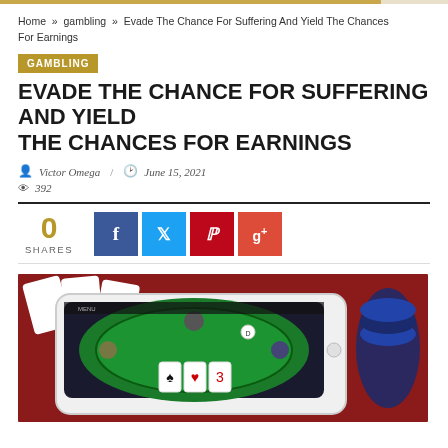Home » gambling » Evade The Chance For Suffering And Yield The Chances For Earnings
GAMBLING
EVADE THE CHANCE FOR SUFFERING AND YIELD THE CHANCES FOR EARNINGS
Victor Omega / June 15, 2021
392
[Figure (infographic): Social share count showing 0 SHARES with Facebook, Twitter, Pinterest, and Google+ share buttons]
[Figure (photo): A smartphone/tablet showing an online poker app with playing cards on a green felt table, surrounded by poker chips and physical playing cards on a red surface in the background]